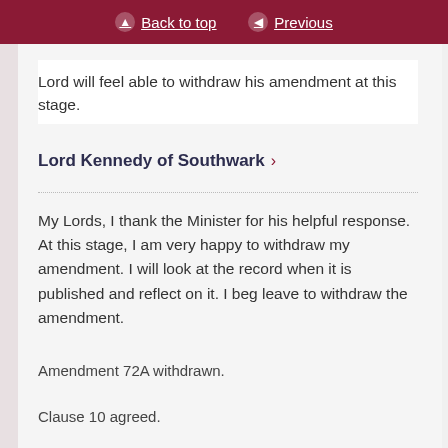Back to top | Previous
Lord will feel able to withdraw his amendment at this stage.
Lord Kennedy of Southwark
My Lords, I thank the Minister for his helpful response. At this stage, I am very happy to withdraw my amendment. I will look at the record when it is published and reflect on it. I beg leave to withdraw the amendment.
Amendment 72A withdrawn.
Clause 10 agreed.
House resumed.